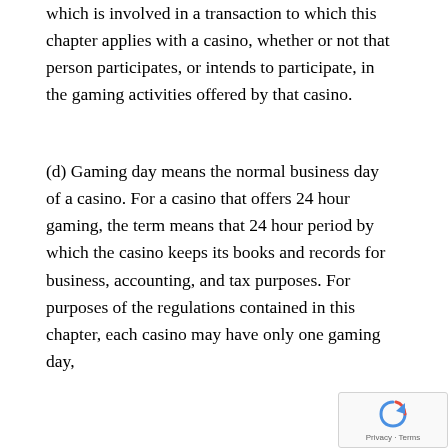which is involved in a transaction to which this chapter applies with a casino, whether or not that person participates, or intends to participate, in the gaming activities offered by that casino.
(d) Gaming day means the normal business day of a casino. For a casino that offers 24 hour gaming, the term means that 24 hour period by which the casino keeps its books and records for business, accounting, and tax purposes. For purposes of the regulations contained in this chapter, each casino may have only one gaming day,